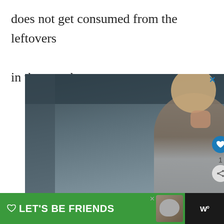does not get consumed from the leftovers

in the mouth.
[Figure (screenshot): Advertisement screenshot showing a young boy putting food in his mouth, with text overlay 'You can help hungry kids.' and an orange bar at the bottom with 'LEARN HOW' button and 'NO KID HUNGRY' logo. There is also a 'WHAT'S NEXT - Is Patchouli Safe for Dog...' popup. Heart/like button with count 1 and share button visible on right side.]
[Figure (screenshot): Bottom green banner ad with text 'LET'S BE FRIENDS' with a dog image and close X button, plus a logo on the right on dark background.]